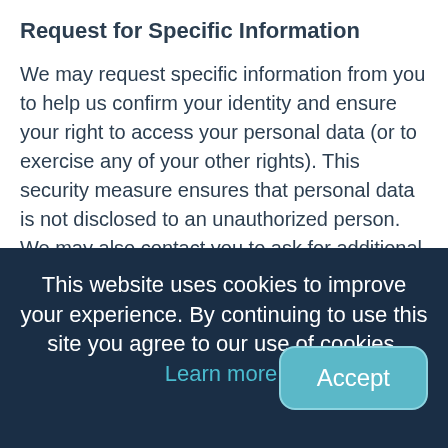Request for Specific Information
We may request specific information from you to help us confirm your identity and ensure your right to access your personal data (or to exercise any of your other rights). This security measure ensures that personal data is not disclosed to an unauthorized person. We may also contact you to ask for additional information to speed up our response.
Response Time
We will respond to all legitimate requests within one month. Occasionally, it may take us longer if your request is particularly complex. In this case, we will notify you and keep you informed.
[Figure (screenshot): Cookie consent banner overlay with dark navy background. Text reads: 'This website uses cookies to improve your experience. By continuing to use this site you agree to our use of cookies. Learn more.' with an Accept button on the right side.]